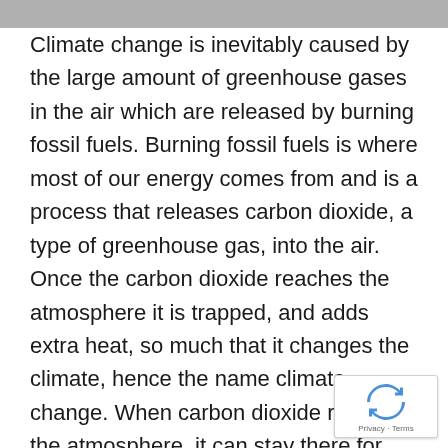Climate change is inevitably caused by the large amount of greenhouse gases in the air which are released by burning fossil fuels. Burning fossil fuels is where most of our energy comes from and is a process that releases carbon dioxide, a type of greenhouse gas, into the air. Once the carbon dioxide reaches the atmosphere it is trapped, and adds extra heat, so much that it changes the climate, hence the name climate change. When carbon dioxide reaches the atmosphere, it can stay there for thousands of years continuously causing an increase to normal heat tempera…
[Figure (logo): reCAPTCHA badge with spinning arrows logo and 'Privacy · Terms' text]